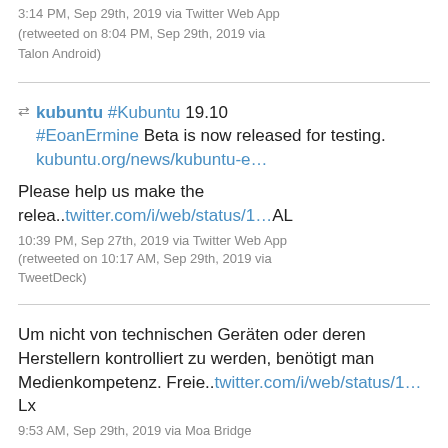3:14 PM, Sep 29th, 2019 via Twitter Web App (retweeted on 8:04 PM, Sep 29th, 2019 via Talon Android)
kubuntu #Kubuntu 19.10 #EoanErmine Beta is now released for testing. kubuntu.org/news/kubuntu-e…
Please help us make the relea..twitter.com/i/web/status/1…AL
10:39 PM, Sep 27th, 2019 via Twitter Web App (retweeted on 10:17 AM, Sep 29th, 2019 via TweetDeck)
Um nicht von technischen Geräten oder deren Herstellern kontrolliert zu werden, benötigt man Medienkompetenz. Freie..twitter.com/i/web/status/1…Lx
9:53 AM, Sep 29th, 2019 via Moa Bridge
Facebook, WhatsApp Will Have to Share Messages With U.K. Police bloomberg.com/news/articles/…